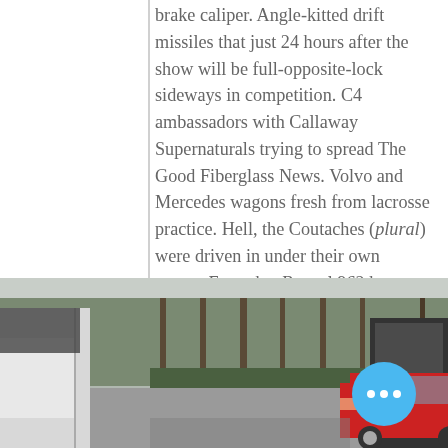brake caliper. Angle-kitted drift missiles that just 24 hours after the show will be full-opposite-lock sideways in competition. C4 ambassadors with Callaway Supernaturals trying to spread The Good Fiberglass News. Volvo and Mercedes wagons fresh from lacrosse practice. Hell, the Coutaches (plural) were driven in under their own power. Even that Repsol 962 has been enlisted back into service for vintage racing duty.
[Figure (photo): A car show scene with multiple vehicles parked among trees. A red BMW E36 coupe is visible in the center background. Various car doors and windows are visible in the foreground. A scroll-up button overlay and a blue more-options button overlay are visible.]